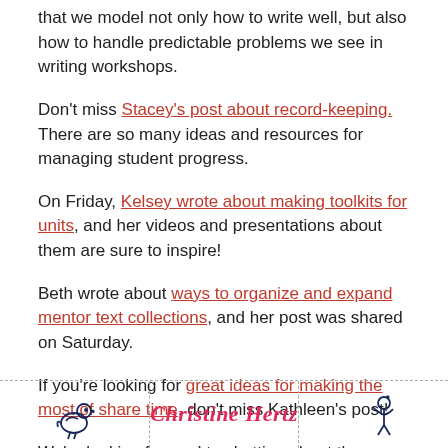that we model not only how to write well, but also how to handle predictable problems we see in writing workshops.
Don't miss Stacey's post about record-keeping. There are so many ideas and resources for managing student progress.
On Friday, Kelsey wrote about making toolkits for units, and her videos and presentations about them are sure to inspire!
Beth wrote about ways to organize and expand mentor text collections, and her post was shared on Saturday.
If you're looking for great ideas for making the most of share time, don't miss Kathleen's post!
We're looking forward to chatting about these topics and more on Monday night, August 13th at 8:30 EDT. Please join us at #TWTBlog!
[Figure (illustration): Bottom author bar with two small stick-figure/bird illustrations flanking the name 'Christine Hertz' in decorative red script font, separated by dashed borders.]